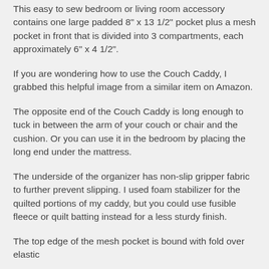This easy to sew bedroom or living room accessory contains one large padded 8" x 13 1/2" pocket plus a mesh pocket in front that is divided into 3 compartments, each approximately 6" x 4 1/2".
If you are wondering how to use the Couch Caddy, I grabbed this helpful image from a similar item on Amazon.
The opposite end of the Couch Caddy is long enough to tuck in between the arm of your couch or chair and the cushion. Or you can use it in the bedroom by placing the long end under the mattress.
The underside of the organizer has non-slip gripper fabric to further prevent slipping. I used foam stabilizer for the quilted portions of my caddy, but you could use fusible fleece or quilt batting instead for a less sturdy finish.
The top edge of the mesh pocket is bound with fold over elastic